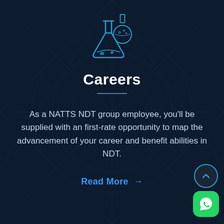[Figure (illustration): Blue outline icon of two laboratory flasks/beakers on dark navy background]
Careers
As a NATTS NDT group employee, you'll be supplied with an first-rate opportunity to map the advancement of your career and benefit abilities in NDT.
Read More →
[Figure (other): Scroll-to-top circular button with chevron up arrow, and WhatsApp green icon button]